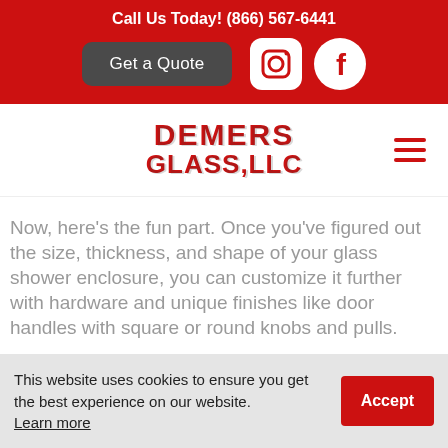Call Us Today! (866) 567-6441
Get a Quote
[Figure (logo): Demers Glass, LLC logo in red block letters]
Now, here's the fun part. Once you've figured out the size, thickness, and shape of your glass shower enclosure, you can customize it further with hardware and unique finishes like door handles with square or round knobs and pulls.
This website uses cookies to ensure you get the best experience on our website. Learn more
Accept